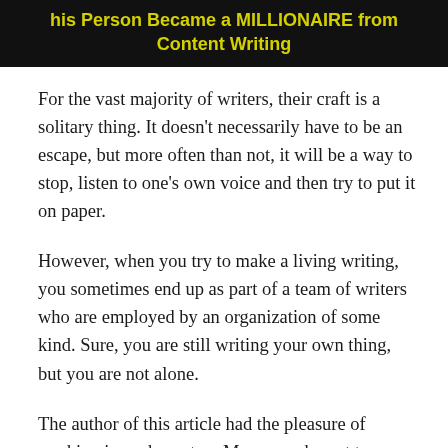[Figure (other): Dark banner image with yellow bold text reading 'his Person Became a MILLIONAIRE from Content Writing']
For the vast majority of writers, their craft is a solitary thing. It doesn't necessarily have to be an escape, but more often than not, it will be a way to stop, listen to one's own voice and then try to put it on paper.
However, when you try to make a living writing, you sometimes end up as part of a team of writers who are employed by an organization of some kind. Sure, you are still writing your own thing, but you are not alone.
The author of this article had the pleasure of working in such a setup. Moreover, he got to manage a team of writers. And you can rest assured that this kind of work